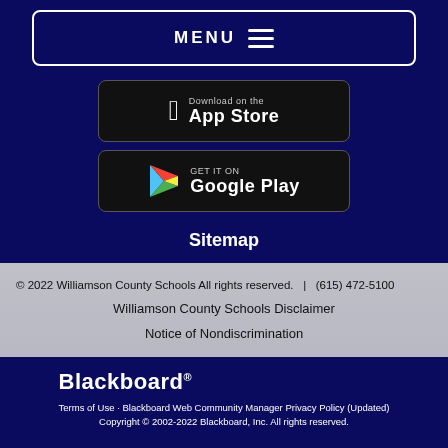[Figure (screenshot): MENU button with hamburger icon, white border on dark navy background]
[Figure (screenshot): Download on the App Store button (Apple)]
[Figure (screenshot): Get it on Google Play button]
Sitemap
© 2022 Williamson County Schools All rights reserved.   |   (615) 472-5100
Williamson County Schools Disclaimer
Notice of Nondiscrimination
Blackboard®
Terms of Use · Blackboard Web Community Manager Privacy Policy (Updated)
Copyright © 2002-2022 Blackboard, Inc. All rights reserved.